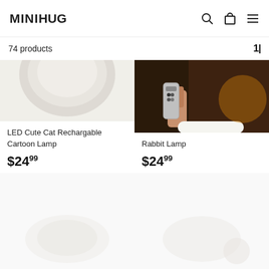MINIHUG
74 products
[Figure (photo): Product image of LED Cute Cat Rechargable Cartoon Lamp - round disc-shaped light in grey/beige color on light background]
LED Cute Cat Rechargable Cartoon Lamp
$24.99
[Figure (photo): Product image of Rabbit Lamp - hand holding a white elongated remote control with dark brown background]
Rabbit Lamp
$24.99
[Figure (photo): Faint product image on white background - bottom left grid item]
[Figure (photo): Faint product image on white background - bottom right grid item]